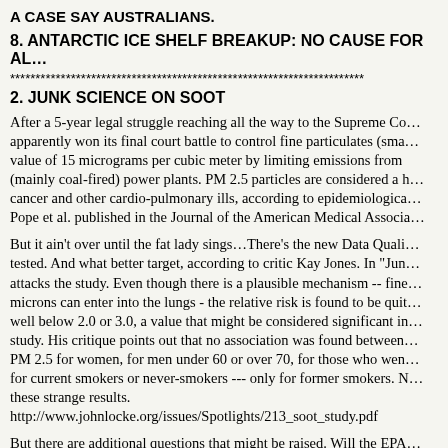A CASE SAY AUSTRALIANS.
8. ANTARCTIC ICE SHELF BREAKUP: NO CAUSE FOR AL…
**********************************************************************
2. JUNK SCIENCE ON SOOT
After a 5-year legal struggle reaching all the way to the Supreme Co… apparently won its final court battle to control fine particulates (sma… value of 15 micrograms per cubic meter by limiting emissions from (mainly coal-fired) power plants. PM 2.5 particles are considered a h… cancer and other cardio-pulmonary ills, according to epidemiologica… Pope et al. published in the Journal of the American Medical Associa…
But it ain't over until the fat lady sings…There's the new Data Quali… tested. And what better target, according to critic Kay Jones. In "Jun… attacks the study. Even though there is a plausible mechanism -- fine… microns can enter into the lungs - the relative risk is found to be quit… well below 2.0 or 3.0, a value that might be considered significant in… study. His critique points out that no association was found between… PM 2.5 for women, for men under 60 or over 70, for those who wen… for current smokers or never-smokers --- only for former smokers. N… these strange results.
http://www.johnlocke.org/issues/Spotlights/213_soot_study.pdf
But there are additional questions that might be raised. Will the EPA…